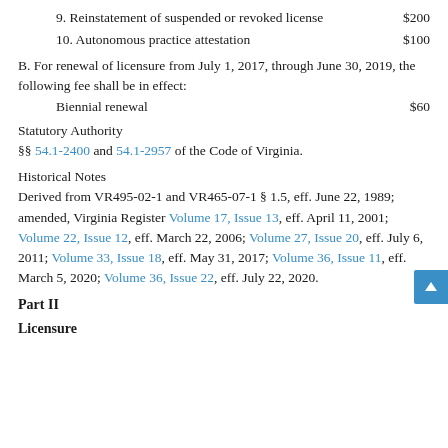9. Reinstatement of suspended or revoked license   $200
10. Autonomous practice attestation   $100
B. For renewal of licensure from July 1, 2017, through June 30, 2019, the following fee shall be in effect:
Biennial renewal   $60
Statutory Authority
§§ 54.1-2400 and 54.1-2957 of the Code of Virginia.
Historical Notes
Derived from VR495-02-1 and VR465-07-1 § 1.5, eff. June 22, 1989; amended, Virginia Register Volume 17, Issue 13, eff. April 11, 2001; Volume 22, Issue 12, eff. March 22, 2006; Volume 27, Issue 20, eff. July 6, 2011; Volume 33, Issue 18, eff. May 31, 2017; Volume 36, Issue 11, eff. March 5, 2020; Volume 36, Issue 22, eff. July 22, 2020.
Part II
Licensure